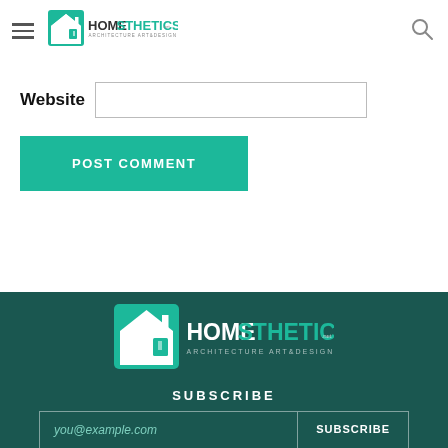Homesthetics - Architecture Art & Design
Website [input field]
POST COMMENT
[Figure (logo): Homesthetics logo - Architecture Art & Design on dark teal background]
SUBSCRIBE
you@example.com [email input] SUBSCRIBE [button]
[Figure (other): Social media icons: Facebook, Twitter, Pinterest, YouTube]